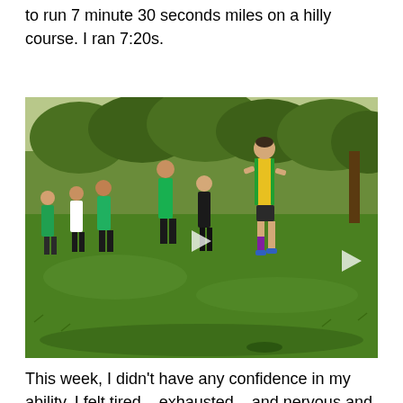to run 7 minute 30 seconds miles on a hilly course. I ran 7:20s.
[Figure (photo): Cross-country race photo showing multiple runners on a grassy course. The lead runner is a young woman in a yellow and green vest with purple compression socks. Several runners behind her wear green and black running kit. The background shows trees and sunshine.]
This week, I didn't have any confidence in my ability. I felt tired – exhausted – and nervous and completely negative.